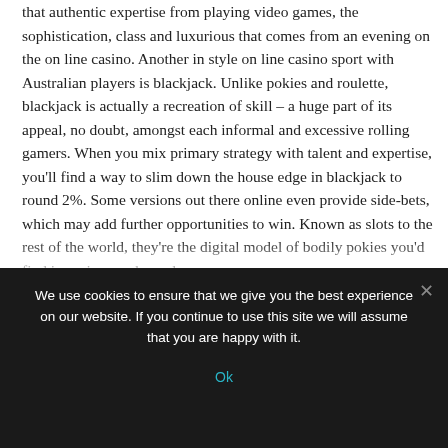that authentic expertise from playing video games, the sophistication, class and luxurious that comes from an evening on the on line casino. Another in style on line casino sport with Australian players is blackjack. Unlike pokies and roulette, blackjack is actually a recreation of skill – a huge part of its appeal, no doubt, amongst each informal and excessive rolling gamers. When you mix primary strategy with talent and expertise, you'll find a way to slim down the house edge in blackjack to round 2%. Some versions out there online even provide side-bets, which may add further opportunities to win. Known as slots to the rest of the world, they're the digital model of bodily pokies you'd find in casinos and arcades.
We use cookies to ensure that we give you the best experience on our website. If you continue to use this site we will assume that you are happy with it.
Ok